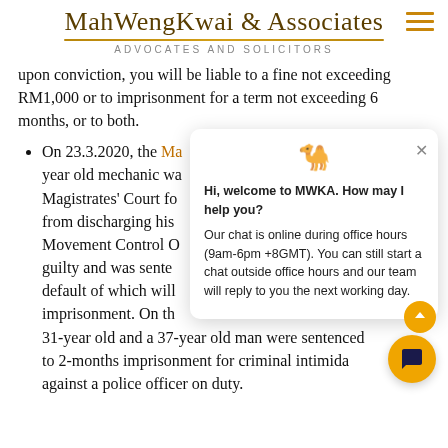MahWengKwai & Associates
ADVOCATES AND SOLICITORS
upon conviction, you will be liable to a fine not exceeding RM1,000 or to imprisonment for a term not exceeding 6 months, or to both.
On 23.3.2020, the Ma[laysian] year old mechanic wa[s charged at the] Magistrates' Court fo[r being prevented] from discharging his [duty during the] Movement Control O[rder. He pleaded] guilty and was sente[nced to a fine, in] default of which will [result in] imprisonment. On th[e same day, a] 31-year old and a 37-year old man were sentenced to 2-months imprisonment for criminal intimid[ation] against a police officer on duty.
[Figure (screenshot): Chat widget overlay from MahWengKwai & Associates website showing a camel icon at the top, a close button (x), and the text: 'Hi, welcome to MWKA. How may I help you? Our chat is online during office hours (9am-6pm +8GMT). You can still start a chat outside office hours and our team will reply to you the next working day.']